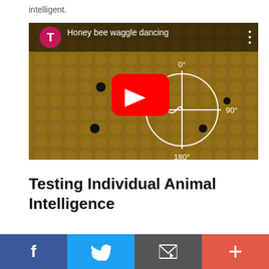intelligent.
[Figure (screenshot): YouTube video thumbnail showing honey bees on a comb with a waggle dance compass overlay (0°, 90°, 180°, 270°) and a red YouTube play button. Title reads 'Honey bee waggle dancing' with a pink/magenta T avatar icon.]
Testing Individual Animal Intelligence
To try to level the playing field for all species, most
Facebook Twitter Email More